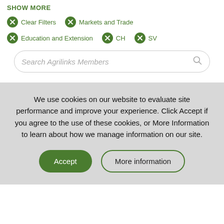SHOW MORE
Clear Filters
Markets and Trade
Education and Extension
CH
SV
Search Agrilinks Members
We use cookies on our website to evaluate site performance and improve your experience. Click Accept if you agree to the use of these cookies, or More Information to learn about how we manage information on our site.
Accept
More information